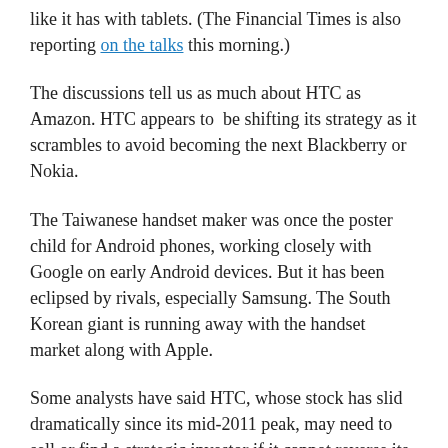like it has with tablets. (The Financial Times is also reporting on the talks this morning.)
The discussions tell us as much about HTC as Amazon. HTC appears to  be shifting its strategy as it scrambles to avoid becoming the next Blackberry or Nokia.
The Taiwanese handset maker was once the poster child for Android phones, working closely with Google on early Android devices. But it has been eclipsed by rivals, especially Samsung. The South Korean giant is running away with the handset market along with Apple.
Some analysts have said HTC, whose stock has slid dramatically since its mid-2011 peak, may need to sell or find a strategic investor if it cannot reverse its slide in revenue and profits. The company has said repeatedly it is not for sale.
With its global smartphone market share having sunk to the